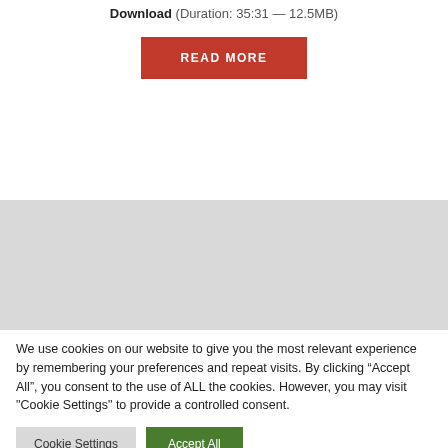Download (Duration: 35:31 — 12.5MB)
[Figure (other): Red READ MORE button]
[Figure (other): Gray placeholder box]
We use cookies on our website to give you the most relevant experience by remembering your preferences and repeat visits. By clicking “Accept All”, you consent to the use of ALL the cookies. However, you may visit "Cookie Settings" to provide a controlled consent.
Cookie Settings | Accept All